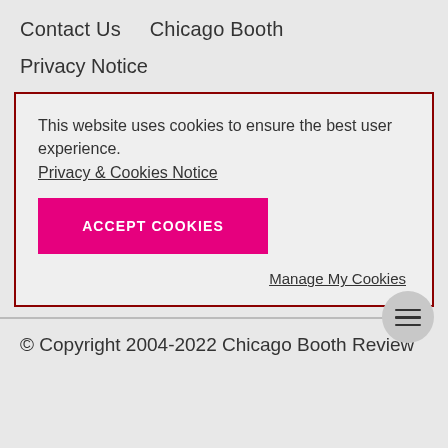Contact Us    Chicago Booth
Privacy Notice
This website uses cookies to ensure the best user experience.
Privacy & Cookies Notice
[ACCEPT COOKIES button]
Manage My Cookies
© Copyright 2004-2022 Chicago Booth Review